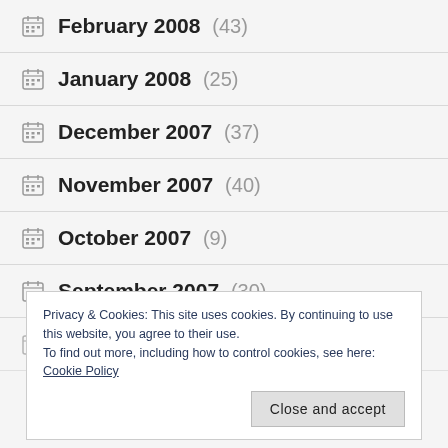February 2008 (43)
January 2008 (25)
December 2007 (37)
November 2007 (40)
October 2007 (9)
September 2007 (30)
August 2007 (18)
Privacy & Cookies: This site uses cookies. By continuing to use this website, you agree to their use. To find out more, including how to control cookies, see here: Cookie Policy
Close and accept